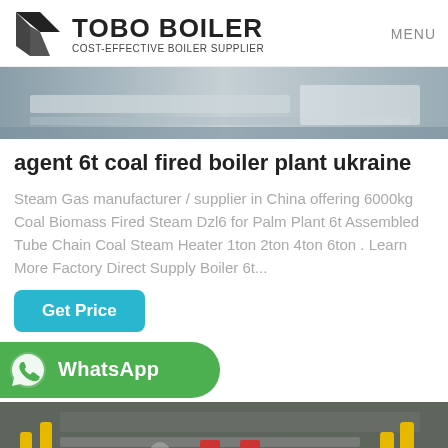TOBO BOILER COST-EFFECTIVE BOILER SUPPLIER MENU
[Figure (photo): Interior industrial/boiler room photo showing floor and equipment, grey tones]
agent 6t coal fired boiler plant ukraine
Steam Gas manufacturer / supplier in China offering 6000kg Coal Biomass Fired Steam Dzl6 for Palm Plant 6t Assembled Tube Chain Coal Steam Heater 1ton 2ton 4ton 6ton . Learn More Factory Direct Supply Boiler 6t...
Get Price
[Figure (logo): WhatsApp button/badge with green background and WhatsApp logo icon]
[Figure (photo): Industrial boiler room interior with yellow pipes and equipment]